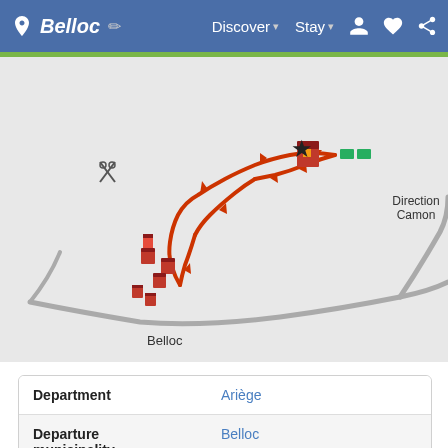Belloc  Discover  Stay
[Figure (map): Interactive map showing Belloc village area with orange route arrows, building icons, a star marker, grey roads, and a label 'Direction Camon'. The village label 'Belloc' appears at bottom left of the route.]
| Department | Ariège |
| Departure municipality | Belloc |
| Outing type | Hike |
| Difficulty | Intermediate |
| Duration | 2h00 |
| Recommended period | from april to october |